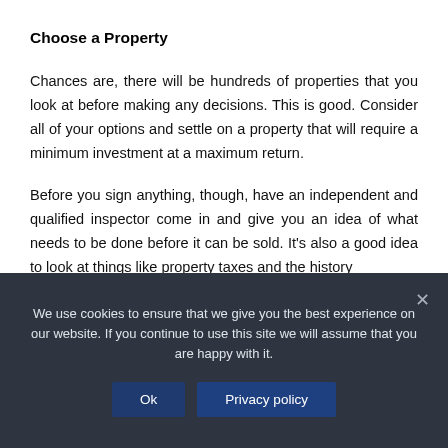Choose a Property
Chances are, there will be hundreds of properties that you look at before making any decisions. This is good. Consider all of your options and settle on a property that will require a minimum investment at a maximum return.
Before you sign anything, though, have an independent and qualified inspector come in and give you an idea of what needs to be done before it can be sold. It’s also a good idea to look at things like property taxes and the history
We use cookies to ensure that we give you the best experience on our website. If you continue to use this site we will assume that you are happy with it.